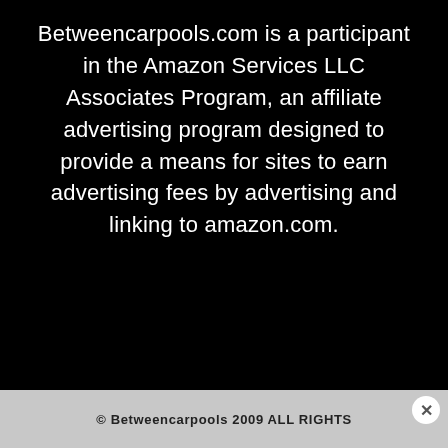Betweencarpools.com is a participant in the Amazon Services LLC Associates Program, an affiliate advertising program designed to provide a means for sites to earn advertising fees by advertising and linking to amazon.com.
© Betweencarpools 2009 ALL RIGHTS